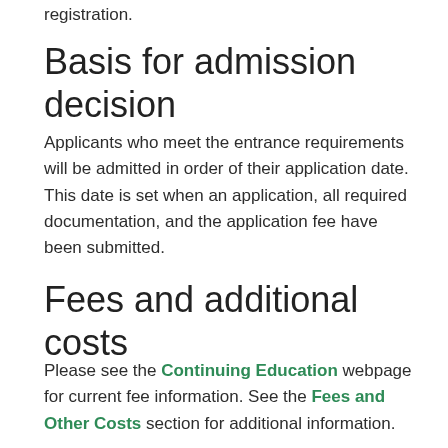registration.
Basis for admission decision
Applicants who meet the entrance requirements will be admitted in order of their application date. This date is set when an application, all required documentation, and the application fee have been submitted.
Fees and additional costs
Please see the Continuing Education webpage for current fee information. See the Fees and Other Costs section for additional information.
Program duration
The Activity Assistant certificate can be completed part-time in nine months. Courses are delivered face-to-face,